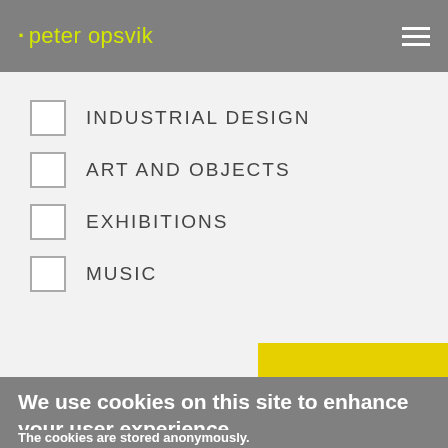· peter opsvik
INDUSTRIAL DESIGN
ART AND OBJECTS
EXHIBITIONS
MUSIC
We use cookies on this site to enhance your user experience.
The cookies are stored anonymously.
Read more